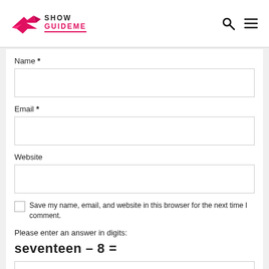Show GuideMe
Name *
Email *
Website
Save my name, email, and website in this browser for the next time I comment.
Please enter an answer in digits: